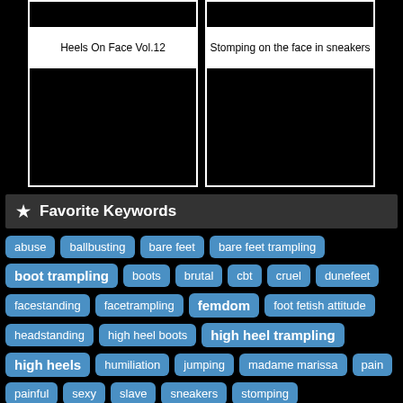| Heels On Face Vol.12 | Stomping on the face in sneakers |
| --- | --- |
★ Favorite Keywords
abuse
ballbusting
bare feet
bare feet trampling
boot trampling
boots
brutal
cbt
cruel
dunefeet
facestanding
facetrampling
femdom
foot fetish attitude
headstanding
high heel boots
high heel trampling
high heels
humiliation
jumping
madame marissa
pain
painful
sexy
slave
sneakers
stomping
trampling
trampling central
trampling girls